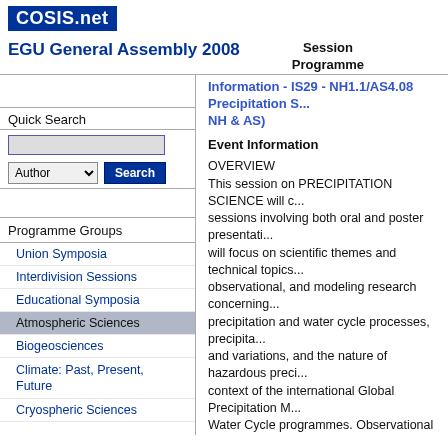COSIS.net
EGU General Assembly 2008
Session Programme
Quick Search
Programme Groups
Union Symposia
Interdivision Sessions
Educational Symposia
Atmospheric Sciences
Biogeosciences
Climate: Past, Present, Future
Cryospheric Sciences
Information - IS29 - NH1.1/AS4.08 Precipitation S... NH & AS)
Event Information
OVERVIEW
This session on PRECIPITATION SCIENCE will c... sessions involving both oral and poster presentati... will focus on scientific themes and technical topics... observational, and modeling research concerning... precipitation and water cycle processes, precipita... and variations, and the nature of hazardous preci... context of the international Global Precipitation M... Water Cycle programmes. Observational emphas... sensing but not restricted to remote sensing.
SUB-SESSION TOPICS
The six sub-sessions will focus on the following to... refined in response to submitted abstracts):
(1) Remotely-Sensed Precipitation, Storm, and W... Current and Future;